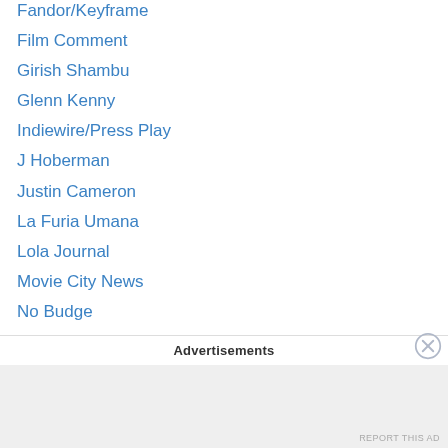Fandor/Keyframe
Film Comment
Girish Shambu
Glenn Kenny
Indiewire/Press Play
J Hoberman
Justin Cameron
La Furia Umana
Lola Journal
Movie City News
No Budge
Pierre Kattar
Sight & Sound
Susan Doll
The Cine-Files
The Cinephiliacs
The Seventh Art
Advertisements
REPORT THIS AD